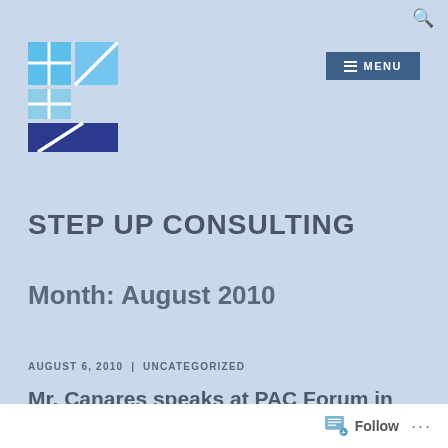[Figure (logo): Step Up Consulting logo: a grid of blue squares with white cross lines and diagonal arrow elements, lower portion is dark navy blue]
STEP UP CONSULTING
Month: August 2010
AUGUST 6, 2010  |  UNCATEGORIZED
Mr. Canares speaks at PAC Forum in Cebu